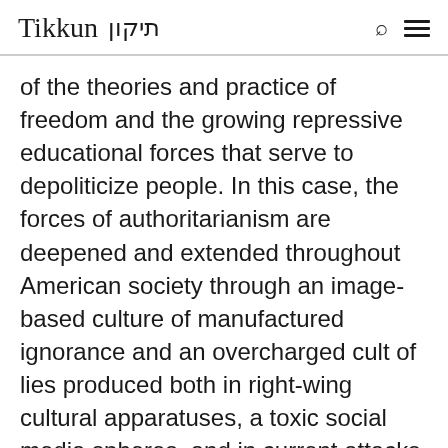Tikkun תיקון
of the theories and practice of freedom and the growing repressive educational forces that serve to depoliticize people. In this case, the forces of authoritarianism are deepened and extended throughout American society through an image-based culture of manufactured ignorance and an overcharged cult of lies produced both in right-wing cultural apparatuses, a toxic social media spheres, and in current attacks on public and higher education.  At the heart of this emerging rebranded fascism is a politics deeply at work in the struggle over consciousness, identity,